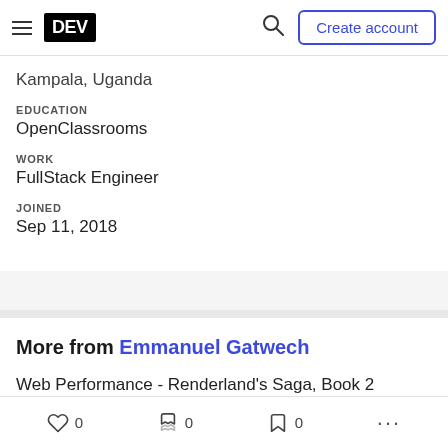DEV | Create account
Kampala, Uganda
EDUCATION
OpenClassrooms
WORK
FullStack Engineer
JOINED
Sep 11, 2018
More from Emmanuel Gatwech
Web Performance - Renderland's Saga, Book 2